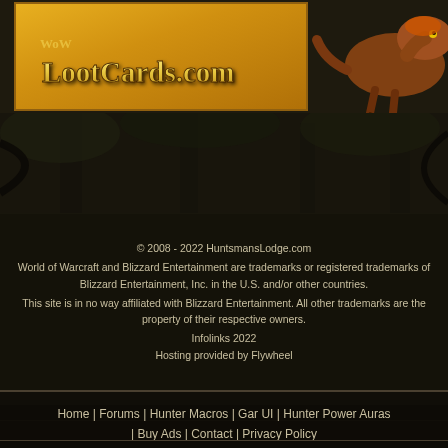[Figure (illustration): LootCards.com banner advertisement with golden/yellow background and fantasy creature (raptor/dinosaur) on the right side. Text reads LootCards.com in stylized serif font.]
[Figure (photo): Dark forest/jungle background scene with trees and foliage, very dark and atmospheric.]
© 2008 - 2022 HuntsmansLodge.com
World of Warcraft and Blizzard Entertainment are trademarks or registered trademarks of Blizzard Entertainment, Inc. in the U.S. and/or other countries.
This site is in no way affiliated with Blizzard Entertainment. All other trademarks are the property of their respective owners.
Infolinks 2022
Hosting provided by Flywheel
Home | Forums | Hunter Macros | Gar UI | Hunter Power Auras | Buy Ads | Contact | Privacy Policy